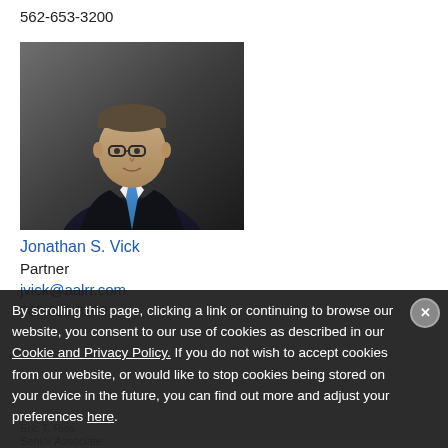562-653-3200
[Figure (photo): Professional headshot of Jonathan S. Vick, a man in a dark suit with a blue tie, wearing glasses, against a dark gray background.]
Jonathan S. Vick
Partner
jvick@aalrr.com
562-653-3200
By scrolling this page, clicking a link or continuing to browse our website, you consent to our use of cookies as described in our Cookie and Privacy Policy. If you do not wish to accept cookies from our website, or would like to stop cookies being stored on your device in the future, you can find out more and adjust your preferences here.
Eric T. Rios
Senior Associate